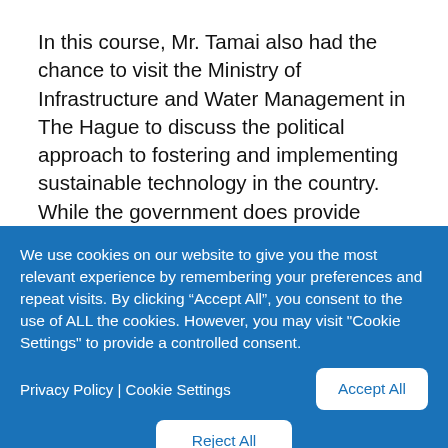In this course, Mr. Tamai also had the chance to visit the Ministry of Infrastructure and Water Management in The Hague to discuss the political approach to fostering and implementing sustainable technology in the country. While the government does provide guidelines to follow, it does not force
We use cookies on our website to give you the most relevant experience by remembering your preferences and repeat visits. By clicking “Accept All”, you consent to the use of ALL the cookies. However, you may visit "Cookie Settings" to provide a controlled consent.
Privacy Policy | Cookie Settings
Accept All
Reject All